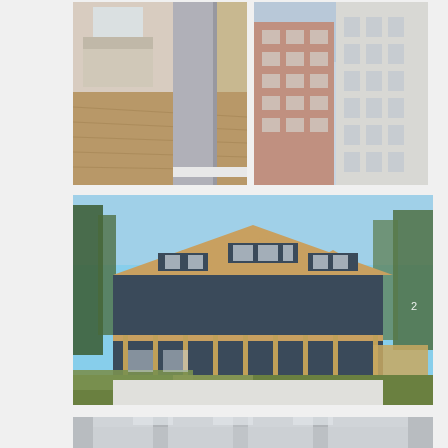[Figure (photo): Interior bedroom/hallway scene with hardwood floors, white baseboard, and a gray painted column/wall. Bedroom with white bed frame visible in background.]
[Figure (photo): Exterior photo of a tall multi-story brick apartment building or hotel with balconies, viewed from street level against a light sky.]
[Figure (photo): Exterior photo of a two-story house with dark blue siding, brown/tan roof with dormers, wood deck/balcony on second floor, surrounded by trees and greenery. Number '2' visible on right side.]
[Figure (photo): Interior industrial or commercial space with metal/concrete walls and ceiling, blurred background suggesting a corridor or garage.]